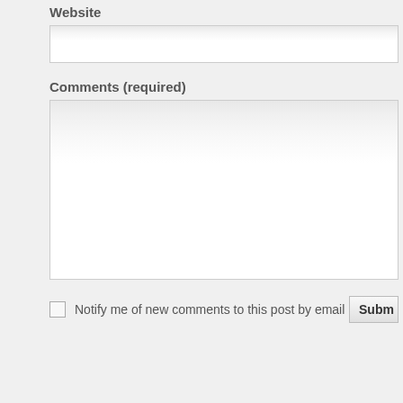Website
[Figure (screenshot): Website text input field (partially cropped on right)]
Comments (required)
[Figure (screenshot): Comments textarea field (partially cropped on right)]
Notify me of new comments to this post by email
Subm